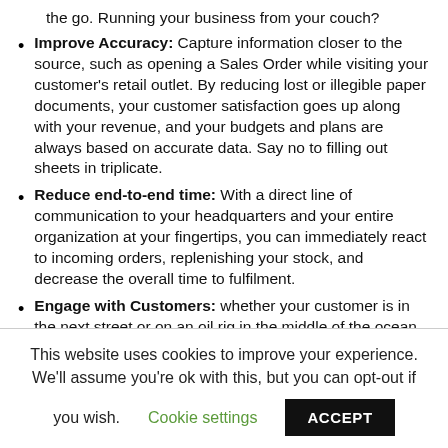the go. Running your business from your couch?
Improve Accuracy: Capture information closer to the source, such as opening a Sales Order while visiting your customer's retail outlet. By reducing lost or illegible paper documents, your customer satisfaction goes up along with your revenue, and your budgets and plans are always based on accurate data. Say no to filling out sheets in triplicate.
Reduce end-to-end time: With a direct line of communication to your headquarters and your entire organization at your fingertips, you can immediately react to incoming orders, replenishing your stock, and decrease the overall time to fulfilment.
Engage with Customers: whether your customer is in the next street or on an oil rig in the middle of the ocean, when you sit down with that customer you
This website uses cookies to improve your experience. We'll assume you're ok with this, but you can opt-out if you wish. Cookie settings ACCEPT